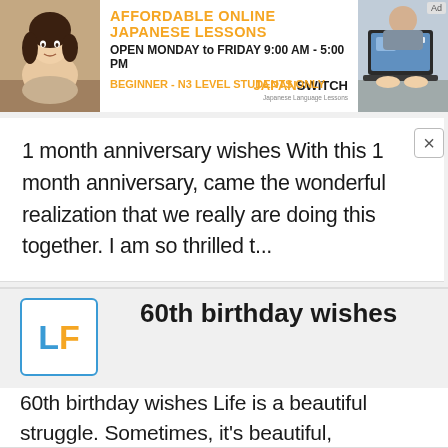[Figure (photo): Advertisement banner for JapanSwitch: AFFORDABLE ONLINE JAPANESE LESSONS, OPEN MONDAY to FRIDAY 9:00 AM - 5:00 PM, BEGINNER - N3 LEVEL STUDENTS ONLY, JAPANSWITCH. Contains photos of a woman studying and someone at a laptop.]
1 month anniversary wishes With this 1 month anniversary, came the wonderful realization that we really are doing this together. I am so thrilled t...
[Figure (logo): LF logo in a blue-bordered box with L in blue and F in orange]
60th birthday wishes
60th birthday wishes Life is a beautiful struggle. Sometimes, it's beautiful, sometimes just a struggle. Make beautiful memories when you can....